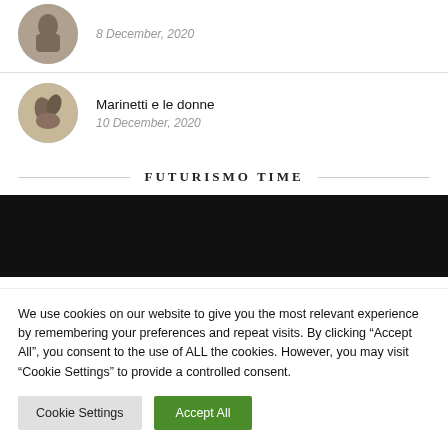[Figure (photo): Circular avatar image showing a sculptural figure, partially visible at top]
8 December, 2020
[Figure (photo): Circular avatar image showing a bronze sculptural figure of two intertwined people]
Marinetti e le donne
10 December, 2020
FUTURISMO TIME
[Figure (photo): A dark/black rectangular image area]
We use cookies on our website to give you the most relevant experience by remembering your preferences and repeat visits. By clicking “Accept All”, you consent to the use of ALL the cookies. However, you may visit "Cookie Settings" to provide a controlled consent.